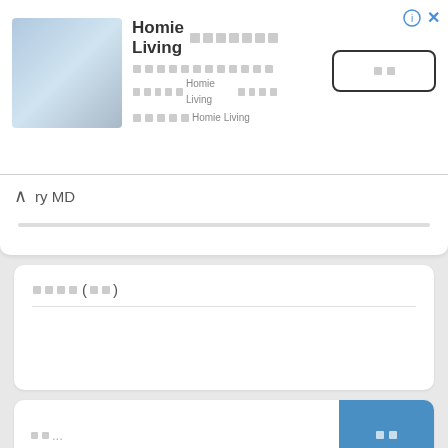[Figure (screenshot): Ad banner for Homie Living with product image, title text with boxes, descriptive subtitle in Thai script, and a follow button]
Homie Living □□□□□□□
□□□□□□□□□□□□□□□ □□□□□□□Homie Living □□□□ □□□□□□□ Homie Living
□□ (follow button)
ry MD
□□□□ (□□)
□□...
□□ (send button)
□□□□